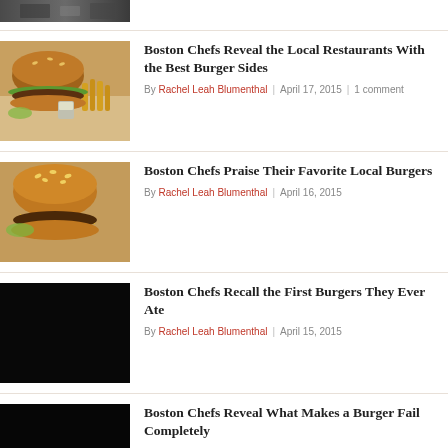[Figure (photo): Partial top image of a dark restaurant interior, cropped at top of page]
Boston Chefs Reveal the Local Restaurants With the Best Burger Sides
By Rachel Leah Blumenthal | April 17, 2015 | 1 comment
[Figure (photo): Photo of a burger with sesame seed bun and melted cheese with fries]
Boston Chefs Praise Their Favorite Local Burgers
By Rachel Leah Blumenthal | April 16, 2015
[Figure (photo): Dark/black image placeholder for Boston Chefs Recall article]
Boston Chefs Recall the First Burgers They Ever Ate
By Rachel Leah Blumenthal | April 15, 2015
[Figure (photo): Dark/black image placeholder for Boston Chefs Reveal Fail article]
Boston Chefs Reveal What Makes a Burger Fail Completely
By Rachel Leah Blumenthal | April 14, 2015